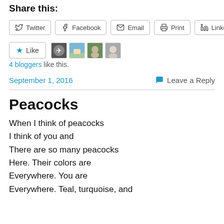Share this:
Twitter  Facebook  Email  Print  LinkedIn
[Figure (other): Like button and 4 blogger avatar thumbnails]
4 bloggers like this.
September 1, 2016    Leave a Reply
Peacocks
When I think of peacocks
I think of you and
There are so many peacocks
Here. Their colors are
Everywhere. You are
Everywhere. Teal, turquoise, and